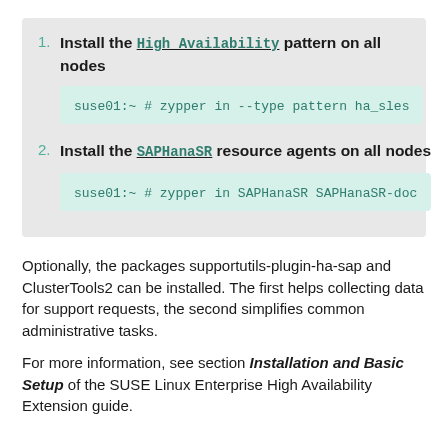1. Install the High Availability pattern on all nodes

suse01:~ # zypper in --type pattern ha_sles
2. Install the SAPHanaSR resource agents on all nodes

suse01:~ # zypper in SAPHanaSR SAPHanaSR-doc
Optionally, the packages supportutils-plugin-ha-sap and ClusterTools2 can be installed. The first helps collecting data for support requests, the second simplifies common administrative tasks.
For more information, see section Installation and Basic Setup of the SUSE Linux Enterprise High Availability Extension guide.